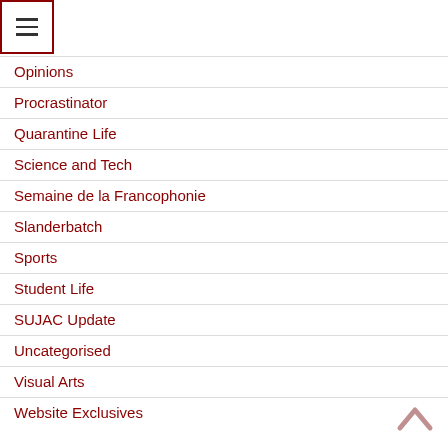[Figure (other): Hamburger menu icon inside a red-bordered square box]
Opinions
Procrastinator
Quarantine Life
Science and Tech
Semaine de la Francophonie
Slanderbatch
Sports
Student Life
SUJAC Update
Uncategorised
Visual Arts
Website Exclusives
[Figure (illustration): Scroll-to-top chevron arrow icon in muted rose/pink color]